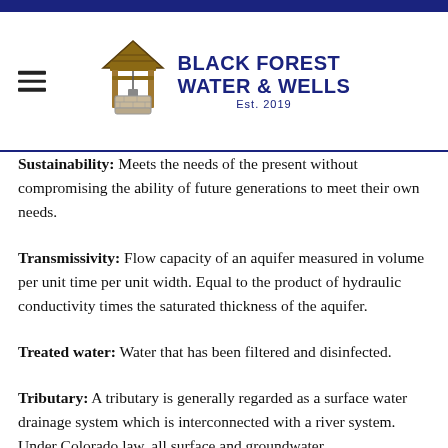Black Forest Water & Wells — Est. 2019
Sustainability: Meets the needs of the present without compromising the ability of future generations to meet their own needs.
Transmissivity: Flow capacity of an aquifer measured in volume per unit time per unit width. Equal to the product of hydraulic conductivity times the saturated thickness of the aquifer.
Treated water: Water that has been filtered and disinfected.
Tributary: A tributary is generally regarded as a surface water drainage system which is interconnected with a river system. Under Colorado law, all surface and groundwater,